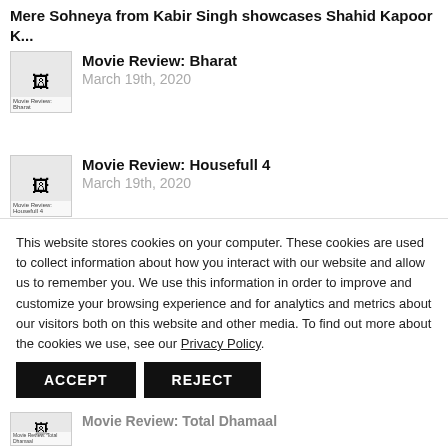Mere Sohneya from Kabir Singh showcases Shahid Kapoor K...
[Figure (photo): Thumbnail for Movie Review: Bharat]
Movie Review: Bharat
March 19th, 2020
[Figure (photo): Thumbnail for Movie Review: Housefull 4]
Movie Review: Housefull 4
March 19th, 2020
[Figure (photo): Thumbnail for Movie Review: Tanhaji: The Unsung Warrior]
Movie Review: Tanhaji: The Unsung Warrior
March 19th, 2020
This website stores cookies on your computer. These cookies are used to collect information about how you interact with our website and allow us to remember you. We use this information in order to improve and customize your browsing experience and for analytics and metrics about our visitors both on this website and other media. To find out more about the cookies we use, see our Privacy Policy.
[Figure (photo): Thumbnail for Movie Review: Total Dhamaal]
Movie Review: Total Dhamaal